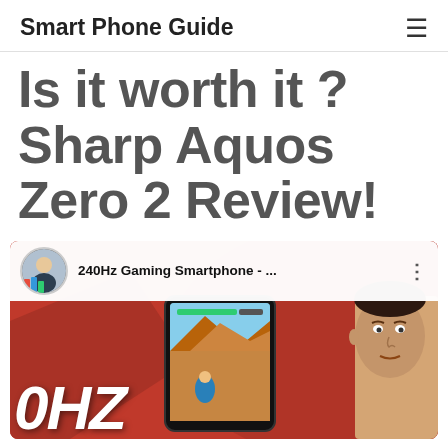Smart Phone Guide
Is it worth it ? Sharp Aquos Zero 2 Review!
[Figure (screenshot): YouTube video thumbnail showing '240Hz Gaming Smartphone - ...' with a red background, a smartphone displaying a game, a person's face on the right, and large white italic text '0HZ' at the bottom left.]